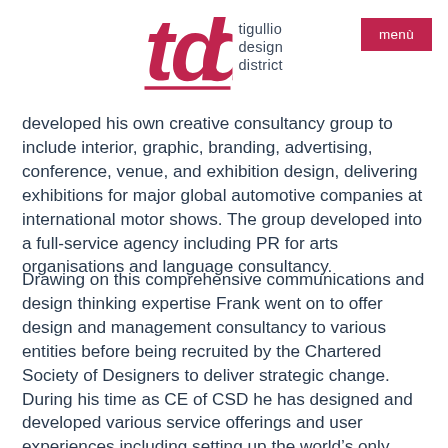[Figure (logo): TDD Tigullio Design District logo with red stylized 'tdd' lettermark and dark blue text reading 'tigullio design district'. A red 'menù' button appears in the top right corner.]
developed his own creative consultancy group to include interior, graphic, branding, advertising, conference, venue, and exhibition design, delivering exhibitions for major global automotive companies at international motor shows. The group developed into a full-service agency including PR for arts organisations and language consultancy.
Drawing on this comprehensive communications and design thinking expertise Frank went on to offer design and management consultancy to various entities before being recruited by the Chartered Society of Designers to deliver strategic change. During his time as CE of CSD he has designed and developed various service offerings and user experiences including setting up the world's only Register of Chartered Designers with Royal approval, developing a framework for professional design practice CPSK™ now internationally recognised, and